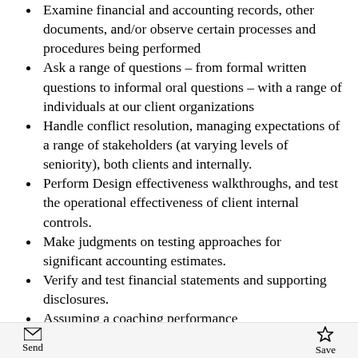Examine financial and accounting records, other documents, and/or observe certain processes and procedures being performed
Ask a range of questions – from formal written questions to informal oral questions – with a range of individuals at our client organizations
Handle conflict resolution, managing expectations of a range of stakeholders (at varying levels of seniority), both clients and internally.
Perform Design effectiveness walkthroughs, and test the operational effectiveness of client internal controls.
Make judgments on testing approaches for significant accounting estimates.
Verify and test financial statements and supporting disclosures.
Assuming a coaching performance
Send  Save